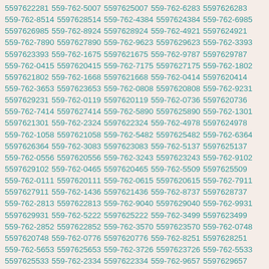5597622281 559-762-5007 5597625007 559-762-6283 5597626283 559-762-8514 5597628514 559-762-4384 5597624384 559-762-6985 5597626985 559-762-8924 5597628924 559-762-4921 5597624921 559-762-7890 5597627890 559-762-9623 5597629623 559-762-3393 5597623393 559-762-1675 5597621675 559-762-9787 5597629787 559-762-0415 5597620415 559-762-7175 5597627175 559-762-1802 5597621802 559-762-1668 5597621668 559-762-0414 5597620414 559-762-3653 5597623653 559-762-0808 5597620808 559-762-9231 5597629231 559-762-0119 5597620119 559-762-0736 5597620736 559-762-7414 5597627414 559-762-5890 5597625890 559-762-1301 5597621301 559-762-2324 5597622324 559-762-4978 5597624978 559-762-1058 5597621058 559-762-5482 5597625482 559-762-6364 5597626364 559-762-3083 5597623083 559-762-5137 5597625137 559-762-0556 5597620556 559-762-3243 5597623243 559-762-9102 5597629102 559-762-0465 5597620465 559-762-5509 5597625509 559-762-0111 5597620111 559-762-0615 5597620615 559-762-7911 5597627911 559-762-1436 5597621436 559-762-8737 5597628737 559-762-2813 5597622813 559-762-9040 5597629040 559-762-9931 5597629931 559-762-5222 5597625222 559-762-3499 5597623499 559-762-2852 5597622852 559-762-3570 5597623570 559-762-0748 5597620748 559-762-0776 5597620776 559-762-8251 5597628251 559-762-5653 5597625653 559-762-3726 5597623726 559-762-5533 5597625533 559-762-2334 5597622334 559-762-9657 5597629657 559-762-7335 5597627335 559-762-1378 5597621378 559-762-4100 5597624100 559-762-5916 5597625916 559-762-1559 5597621559 559-762-9499 5597629499 559-762-6573 5597626573 559-762-1053 5597621053 559-762-0031 5597620031 559-762-9793 5597629793 559-